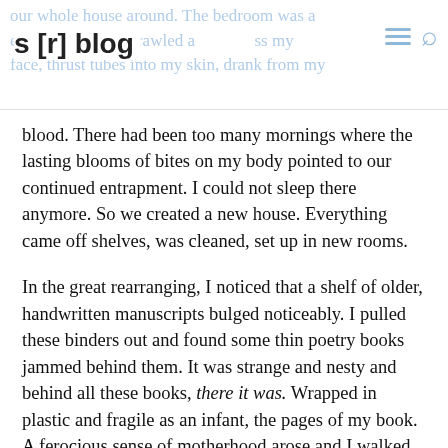s [r] blog
blood. There had been too many mornings where the lasting blooms of bites on my body pointed to our continued entrapment. I could not sleep there anymore. So we created a new house. Everything came off shelves, was cleaned, set up in new rooms.
In the great rearranging, I noticed that a shelf of older, handwritten manuscripts bulged noticeably. I pulled these binders out and found some thin poetry books jammed behind them. It was strange and nesty and behind all these books, there it was. Wrapped in plastic and fragile as an infant, the pages of my book. A ferocious sense of motherhood arose and I walked around the house, weeping and holding